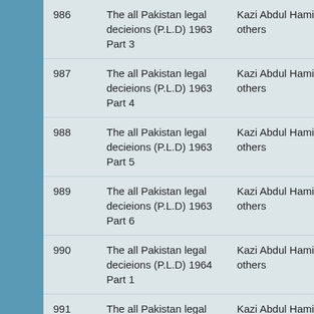| # | Title | Author | Publisher |
| --- | --- | --- | --- |
| 986 | The all Pakistan legal decieions (P.L.D) 1963 Part 3 | Kazi Abdul Hamid and others | Malik Mi... Muhamm... |
| 987 | The all Pakistan legal decieions (P.L.D) 1963 Part 4 | Kazi Abdul Hamid and others | Malik Mi... Muhamm... |
| 988 | The all Pakistan legal decieions (P.L.D) 1963 Part 5 | Kazi Abdul Hamid and others | Malik Mi... Muhamm... |
| 989 | The all Pakistan legal decieions (P.L.D) 1963 Part 6 | Kazi Abdul Hamid and others | Malik Mi... Muhamm... |
| 990 | The all Pakistan legal decieions (P.L.D) 1964 Part 1 | Kazi Abdul Hamid and others | Punjab L... Press |
| 991 | The all Pakistan legal decieions (P.L.D) 1964 Part 2 | Kazi Abdul Hamid and others | Punjab L... Press |